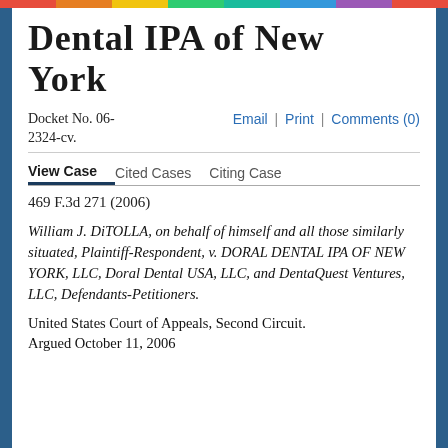Dental IPA of New York
Docket No. 06-2324-cv.
Email | Print | Comments (0)
View Case | Cited Cases | Citing Case
469 F.3d 271 (2006)
William J. DiTOLLA, on behalf of himself and all those similarly situated, Plaintiff-Respondent, v. DORAL DENTAL IPA OF NEW YORK, LLC, Doral Dental USA, LLC, and DentaQuest Ventures, LLC, Defendants-Petitioners.
United States Court of Appeals, Second Circuit.
Argued October 11, 2006